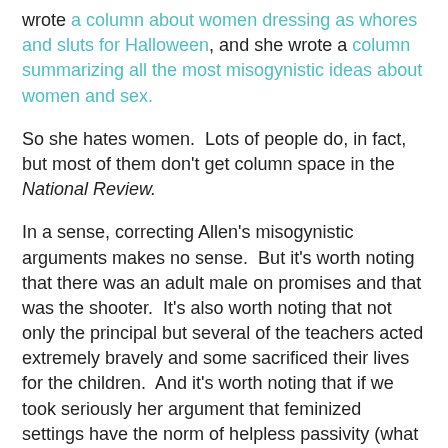wrote a column about women dressing as whores and sluts for Halloween, and she wrote a column summarizing all the most misogynistic ideas about women and sex.
So she hates women.  Lots of people do, in fact, but most of them don't get column space in the National Review.
In a sense, correcting Allen's misogynistic arguments makes no sense.  But it's worth noting that there was an adult male on promises and that was the shooter.  It's also worth noting that not only the principal but several of the teachers acted extremely bravely and some sacrificed their lives for the children.  And it's worth noting that if we took seriously her argument that feminized settings have the norm of helpless passivity (what an asshat she is!), then masculinized settings have the norm for random violence.  Both stories have about the same truth value,  in my view.
Allen admits the bravery of the principal and the teachers but then simply ignores it, in favor of various imaginary scenarios of what husky 12-year-old-boys might have achieved or how high school football training would have